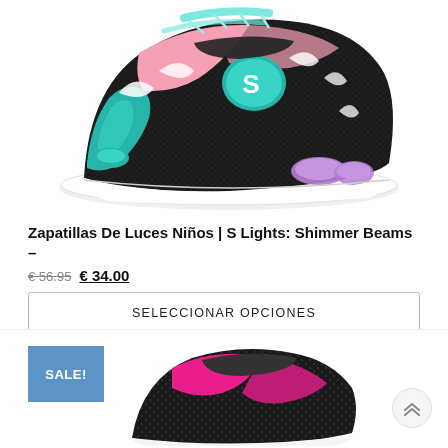[Figure (photo): Skechers S Lights Shimmer Beams sneaker for kids – black base with pink, teal/turquoise, and purple color accents, white sole, shown at an angle from above]
Zapatillas De Luces Niños | S Lights: Shimmer Beams –
€ 56.95  € 34.00
SELECCIONAR OPCIONES
[Figure (photo): Partial view of another Skechers sneaker – black with hot pink/magenta accents, partially visible at the bottom of the page]
SALE!